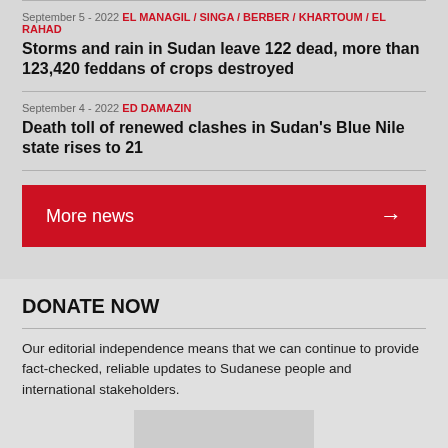September 5 - 2022 EL MANAGIL / SINGA / BERBER / KHARTOUM / EL RAHAD
Storms and rain in Sudan leave 122 dead, more than 123,420 feddans of crops destroyed
September 4 - 2022 ED DAMAZIN
Death toll of renewed clashes in Sudan's Blue Nile state rises to 21
More news →
DONATE NOW
Our editorial independence means that we can continue to provide fact-checked, reliable updates to Sudanese people and international stakeholders.
[Figure (other): Donate form or image placeholder at bottom]